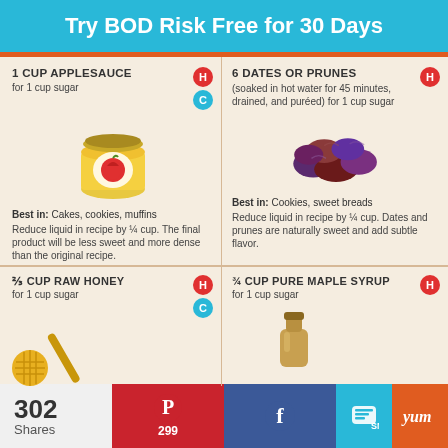Try BOD Risk Free for 30 Days
1 CUP APPLESAUCE
for 1 cup sugar
Best in: Cakes, cookies, muffins
Reduce liquid in recipe by ¼ cup. The final product will be less sweet and more dense than the original recipe.
6 DATES OR PRUNES
(soaked in hot water for 45 minutes, drained, and puréed)
for 1 cup sugar
Best in: Cookies, sweet breads
Reduce liquid in recipe by ¼ cup. Dates and prunes are naturally sweet and add subtle flavor.
⅔ CUP RAW HONEY
for 1 cup sugar
¾ CUP PURE MAPLE SYRUP
for 1 cup sugar
302 Shares
299